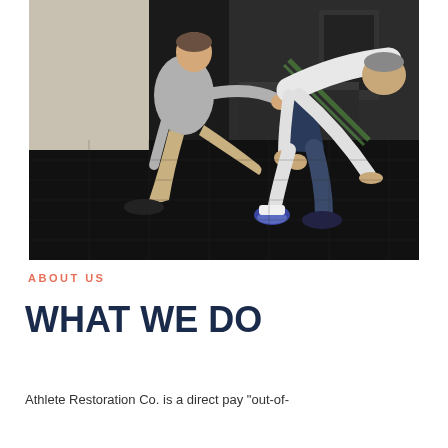[Figure (photo): A physical therapist or trainer kneeling beside an athlete who is in a push-up/crawling position on a black rubber gym floor. The trainer is wearing a gray t-shirt and khaki pants, while the athlete wears a white long-sleeve shirt and dark shorts. Gym equipment is visible in the background.]
ABOUT US
WHAT WE DO
Athlete Restoration Co. is a direct pay "out-of-